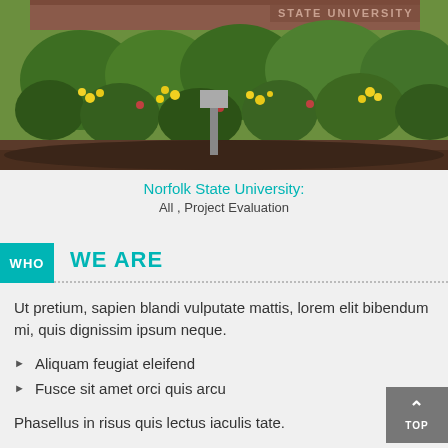[Figure (photo): Outdoor photo of Norfolk State University campus entrance with flowering shrubs, green bushes, and a brick wall partially visible. Yellow and red flowers are visible among green foliage.]
Norfolk State University:
All , Project Evaluation
WHO WE ARE
Ut pretium, sapien blandi vulputate mattis, lorem elit bibendum mi, quis dignissim ipsum neque.
Aliquam feugiat eleifend
Fusce sit amet orci quis arcu
Phasellus in risus quis lectus iaculis tate.